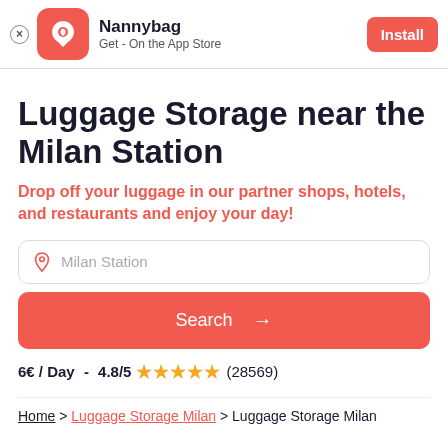[Figure (logo): Nannybag app install banner with orange app icon showing a bag/pin logo, app name Nannybag, subtitle Get-On the App Store, and an Install button]
Luggage Storage near the Milan Station
Drop off your luggage in our partner shops, hotels, and restaurants and enjoy your day!
Milan Station (search input placeholder)
Search →
6€ / Day - 4.8/5 ★★★★★ (28569)
Home > Luggage Storage Milan > Luggage Storage Milan